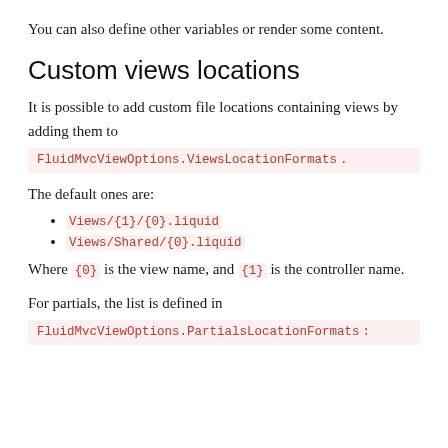You can also define other variables or render some content.
Custom views locations
It is possible to add custom file locations containing views by adding them to FluidMvcViewOptions.ViewsLocationFormats.
The default ones are:
Views/{1}/{0}.liquid
Views/Shared/{0}.liquid
Where {0} is the view name, and {1} is the controller name.
For partials, the list is defined in FluidMvcViewOptions.PartialsLocationFormats: